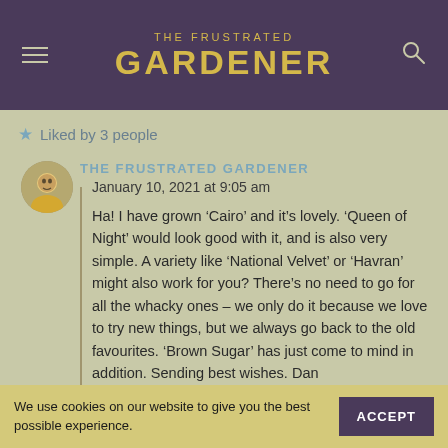THE FRUSTRATED GARDENER
Liked by 3 people
THE FRUSTRATED GARDENER
January 10, 2021 at 9:05 am
Ha! I have grown ‘Cairo’ and it’s lovely. ‘Queen of Night’ would look good with it, and is also very simple. A variety like ‘National Velvet’ or ‘Havran’ might also work for you? There’s no need to go for all the whacky ones – we only do it because we love to try new things, but we always go back to the old favourites. ‘Brown Sugar’ has just come to mind in addition. Sending best wishes. Dan
We use cookies on our website to give you the best possible experience.